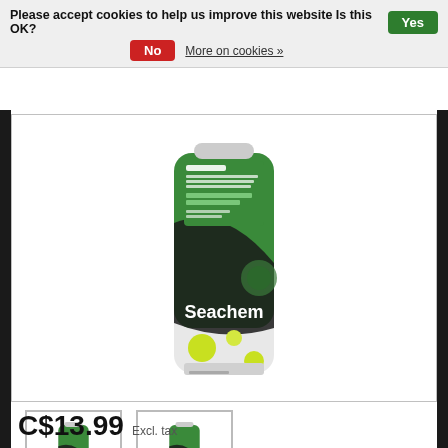Please accept cookies to help us improve this website Is this OK?   Yes   No   More on cookies »
[Figure (photo): Seachem Flourish Excel product bottle - green and black bottle with 'Organic Carbon for the Planted Aquarium' label, Seachem brand, large main product image]
[Figure (photo): Seachem Flourish Excel product bottle thumbnail 1 - smaller version of the main product image]
[Figure (photo): Seachem Flourish Excel product bottle thumbnail 2 - smaller version of the main product image from slightly different angle]
C$13.99 Excl. tax